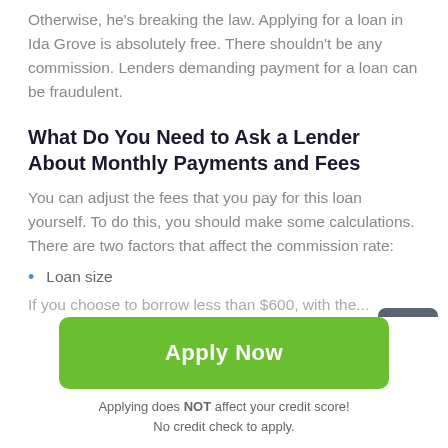Otherwise, he's breaking the law. Applying for a loan in Ida Grove is absolutely free. There shouldn't be any commission. Lenders demanding payment for a loan can be fraudulent.
What Do You Need to Ask a Lender About Monthly Payments and Fees
You can adjust the fees that you pay for this loan yourself. To do this, you should make some calculations. There are two factors that affect the commission rate:
Loan size
If you choose to borrow less than $600, with the...
[Figure (other): Scroll-to-top button with upward arrow icon on dark grey background]
[Figure (other): Green Apply Now button]
Applying does NOT affect your credit score! No credit check to apply.